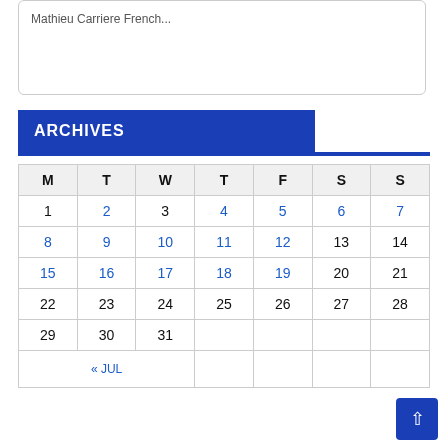Mathieu Carriere French...
ARCHIVES
| M | T | W | T | F | S | S |
| --- | --- | --- | --- | --- | --- | --- |
| 1 | 2 | 3 | 4 | 5 | 6 | 7 |
| 8 | 9 | 10 | 11 | 12 | 13 | 14 |
| 15 | 16 | 17 | 18 | 19 | 20 | 21 |
| 22 | 23 | 24 | 25 | 26 | 27 | 28 |
| 29 | 30 | 31 |  |  |  |  |
« JUL